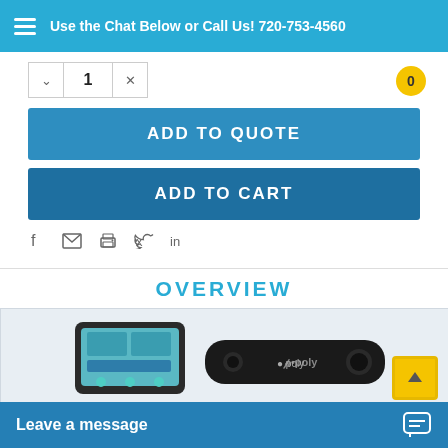Use the Chat Below or Call Us! 720-753-4560
1
0
ADD TO QUOTE
ADD TO CART
[Figure (illustration): Social share icons: Facebook, email, print, Twitter, LinkedIn]
OVERVIEW
[Figure (photo): Poly video conferencing device with touchscreen controller tablet and a soundbar/camera unit, showing the Poly logo]
Leave a message